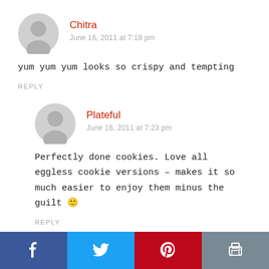Chitra
June 16, 2011 at 7:18 pm
yum yum yum looks so crispy and tempting
REPLY
Plateful
June 16, 2011 at 7:23 pm
Perfectly done cookies. Love all eggless cookie versions – makes it so much easier to enjoy them minus the guilt 🙂
REPLY
Sobha Shyam